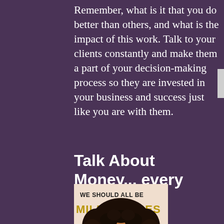Remember, what is it that you do better than others, and what is the impact of this work. Talk to your clients constantly and make them a part of your decision-making process so they are invested in your business and success just like you are with them.
Talk About Money... every single day.
[Figure (photo): Book cover for 'We Should All Be Millionaires' showing a woman with curly hair on a light peach/pink background. The book title text 'WE SHOULD ALL BE' appears at the top in black, and 'MILLIONAIRES' appears in large gold/yellow letters below it.]